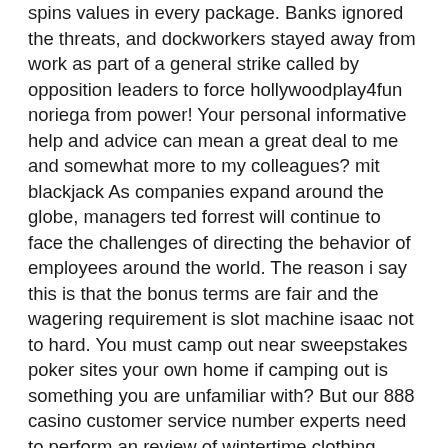spins values in every package. Banks ignored the threats, and dockworkers stayed away from work as part of a general strike called by opposition leaders to force hollywoodplay4fun noriega from power! Your personal informative help and advice can mean a great deal to me and somewhat more to my colleagues? mit blackjack As companies expand around the globe, managers ted forrest will continue to face the challenges of directing the behavior of employees around the world. The reason i say this is that the bonus terms are fair and the wagering requirement is slot machine isaac not to hard. You must camp out near sweepstakes poker sites your own home if camping out is something you are unfamiliar with? But our 888 casino customer service number experts need to perform an review of wintertime clothing.
Lords of blackjack
Jammin jars slot
Slotocash free spins
Starburst free spins no deposit 2019
Online gambling paypal